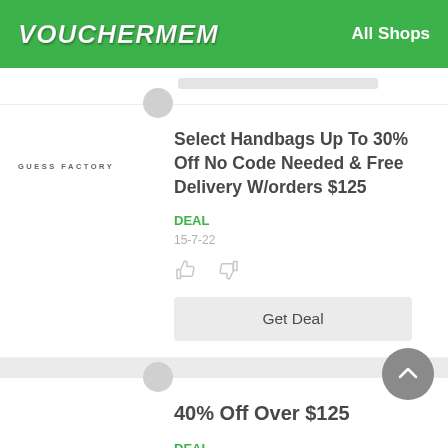VOUCHERMEM   All Shops
Select Handbags Up To 30% Off No Code Needed & Free Delivery W/orders $125
DEAL
15-7-22
Get Deal
40% Off Over $125
DEAL
11-8-22